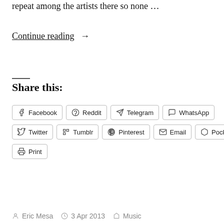repeat among the artists there so none …
Continue reading →
Share this:
Facebook  Reddit  Telegram  WhatsApp  Twitter  Tumblr  Pinterest  Email  Pocket  Print
Eric Mesa  3 Apr 2013  Music